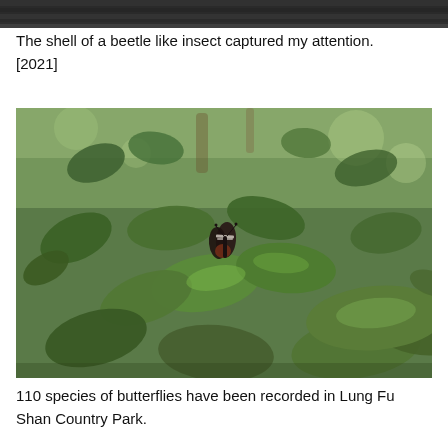[Figure (photo): Top edge of a photo showing a beetle-like insect shell against a dark background (partially cropped at top of page).]
The shell of a beetle like insect captured my attention. [2021]
[Figure (photo): A butterfly resting on green leaves in Lung Fu Shan Country Park. The butterfly has dark wings with a white stripe. The background is blurred foliage.]
110 species of butterflies have been recorded in Lung Fu Shan Country Park.